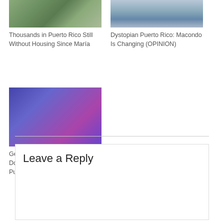[Figure (photo): Aerial or street photo related to Puerto Rico housing]
Thousands in Puerto Rico Still Without Housing Since María
[Figure (photo): Photo of person fishing or near water, Dystopian Puerto Rico]
Dystopian Puerto Rico: Macondo Is Changing (OPINION)
[Figure (photo): Two people looking at a bulletin board with purple/blue tones, gentrification protest]
Gentrification Displaces Domestic Violence Survivors in Puerto Rico
Leave a Reply